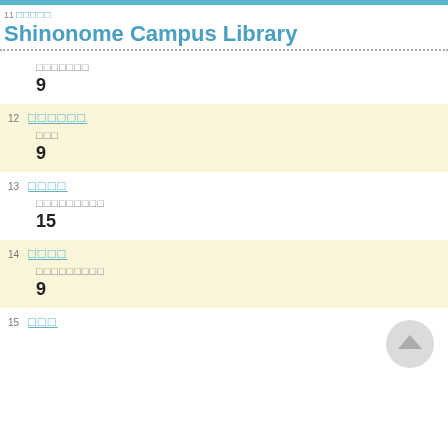Shinonome Campus Library
9
12 □□□□□□ □□□ 9
13 □□□□ □□□□□□□□□ 15
14 □□□□ □□□□□□□□□ 9
15 □□□